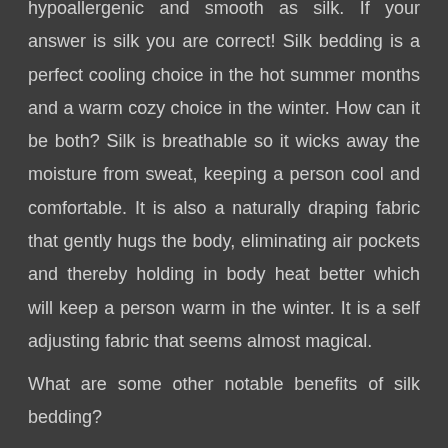hypoallergenic and smooth as silk. If your answer is silk you are correct! Silk bedding is a perfect cooling choice in the hot summer months and a warm cozy choice in the winter. How can it be both? Silk is breathable so it wicks away the moisture from sweat, keeping a person cool and comfortable. It is also a naturally draping fabric that gently hugs the body, eliminating air pockets and thereby holding in body heat better which will keep a person warm in the winter. It is a self adjusting fabric that seems almost magical.
What are some other notable benefits of silk bedding?